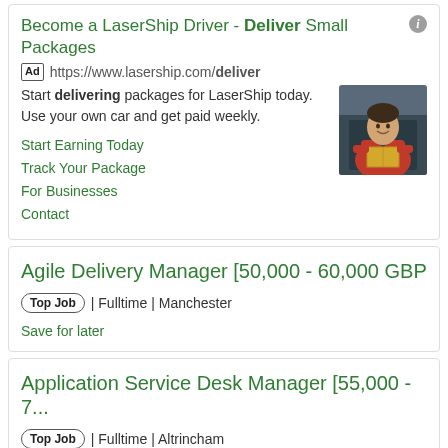[Figure (screenshot): Search result advertisement for LaserShip Driver job with photo of a man in red jacket holding a package, standing in front of a van]
Become a LaserShip Driver - Deliver Small Packages
Ad https://www.lasership.com/deliver
Start delivering packages for LaserShip today. Use your own car and get paid weekly.
Start Earning Today
Track Your Package
For Businesses
Contact
Agile Delivery Manager [50,000 - 60,000 GBP
Top Job | Fulltime | Manchester
Save for later
Application Service Desk Manager [55,000 - 7...
Top Job | Fulltime | Altrincham